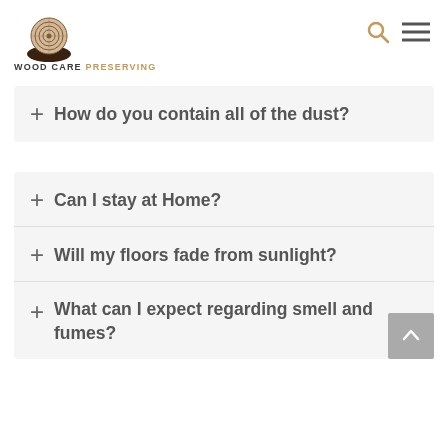[Figure (logo): Wood Care Preserving logo: tree cross-section held by hands, with text WOOD CARE PRESERVING below]
+ How do you contain all of the dust?
+ Can I stay at Home?
+ Will my floors fade from sunlight?
+ What can I expect regarding smell and fumes?